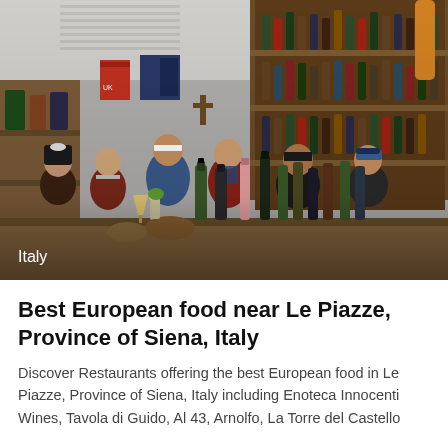[Figure (photo): Group photo of six restaurant staff (chefs and servers) standing behind a table covered with wine bottles and food items, in front of a wooden wine shelf stocked with bottles, inside a restaurant or wine shop setting.]
Italy
Best European food near Le Piazze, Province of Siena, Italy
Discover Restaurants offering the best European food in Le Piazze, Province of Siena, Italy including Enoteca Innocenti Wines, Tavola di Guido, Al 43, Arnolfo, La Torre del Castello